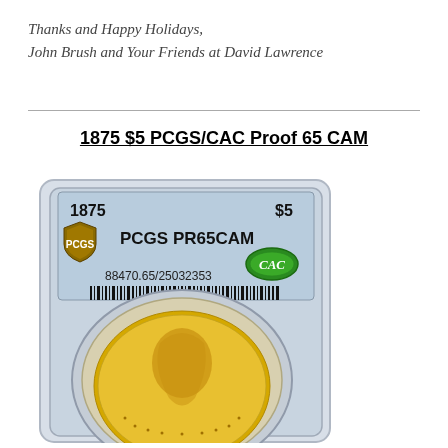Thanks and Happy Holidays,
John Brush and Your Friends at David Lawrence
1875 $5 PCGS/CAC Proof 65 CAM
[Figure (photo): Photo of a 1875 $5 gold coin in a PCGS PR65CAM CAC certified slab. The slab label reads: 1875, $5, PCGS PR65CAM, CAC sticker, 88470.65/25032353, with a barcode. The coin shows a Liberty head gold half eagle.]